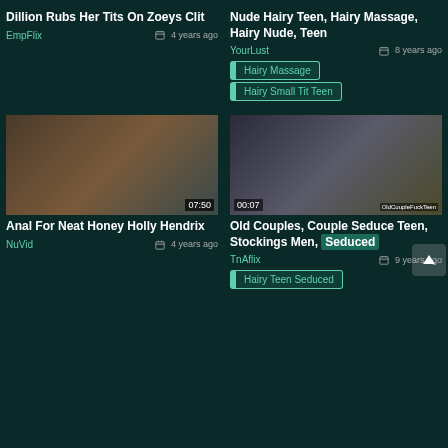Dillion Rubs Her Tits On Zoeys Clit
EmpFlix · 4 years ago
[Figure (photo): Video thumbnail showing women on a couch, duration 07:50]
Anal For Neat Honey Holly Hendrix
NuVid · 4 years ago
Nude Hairy Teen, Hairy Massage, Hairy Nude, Teen
YourLust · 8 years ago
Hairy Massage
Hairy Small Tit Teen
[Figure (photo): Video thumbnail showing group of people on sofa, duration visible, watermark OldCoupleFuckTeen]
Old Couples, Couple Seduce Teen, Stockings Men, Seduced
TnAflix · 9 years ago
Hairy Teen Seduced